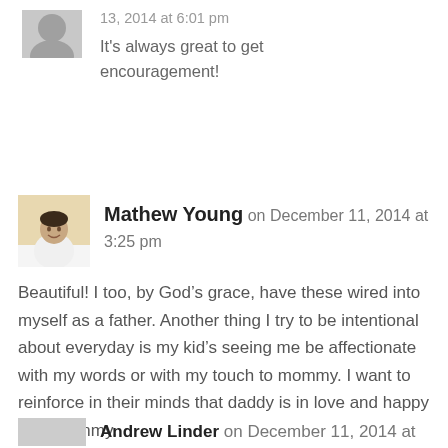13, 2014 at 6:01 pm
It's always great to get encouragement!
Mathew Young on December 11, 2014 at 3:25 pm
Beautiful! I too, by God’s grace, have these wired into myself as a father. Another thing I try to be intentional about everyday is my kid’s seeing me be affectionate with my words or with my touch to mommy. I want to reinforce in their minds that daddy is in love and happy with mommy.
Reply
Andrew Linder on December 11, 2014 at